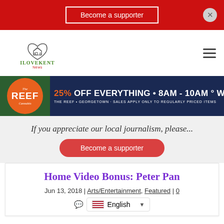Become a supporter
[Figure (logo): ILoveKent News logo with heart and house icon]
[Figure (infographic): The Reef Cannabis ad: 25% OFF EVERYTHING • 8AM - 10AM ° WEEKDAYS. THE REEF • GEORGETOWN • SALES APPLY ONLY TO REGULARLY PRICED ITEMS]
If you appreciate our local journalism, please...
Become a supporter
Home Video Bonus: Peter Pan
Jun 13, 2018 | Arts/Entertainment, Featured | 0
English